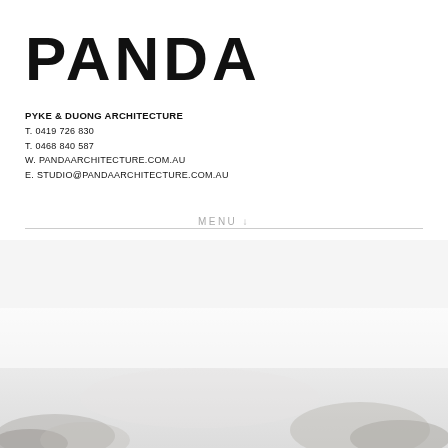PANDA
PYKE & DUONG ARCHITECTURE
T. 0419 726 830
T. 0468 840 587
W. PANDAARCHITECTURE.COM.AU
E. STUDIO@PANDAARCHITECTURE.COM.AU
MENU ↓
[Figure (photo): Faded landscape/architectural photo visible in the lower portion of the page, showing rocky or hilly terrain in muted grey tones]